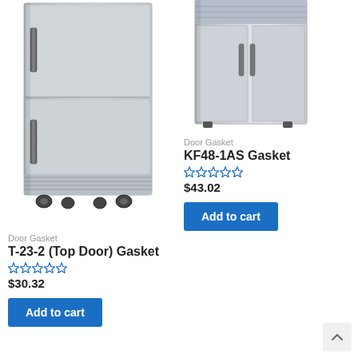[Figure (photo): Two-door stainless steel commercial refrigerator unit on casters, left column product image]
Door Gasket
T-23-2 (Top Door) Gasket
☆☆☆☆☆
$30.32
Add to cart
[Figure (photo): Partial view of stainless steel commercial refrigeration unit, right column product image]
Door Gasket
KF48-1AS Gasket
☆☆☆☆☆
$43.02
Add to cart